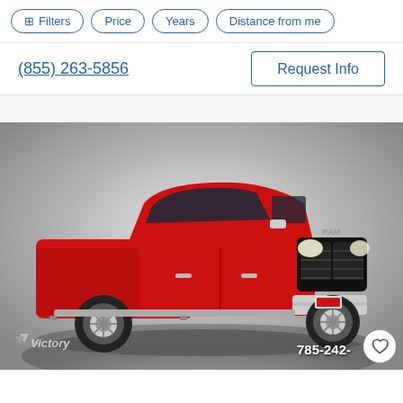Filters | Price | Years | Distance from me
(855) 263-5856
Request Info
[Figure (photo): Red Ram pickup truck (crew cab, chrome grille and bumper) photographed against a grey gradient studio background. Victory dealership logo visible in lower left, phone number 785-242- visible in lower right, with a heart/favorite button.]